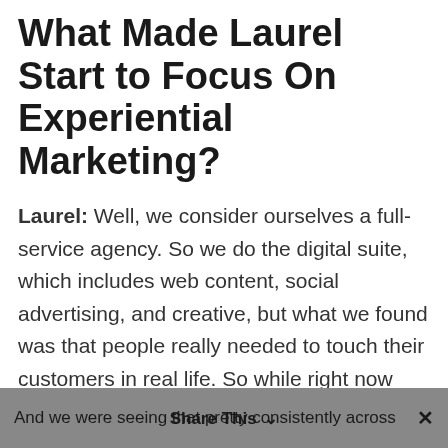What Made Laurel Start to Focus On Experiential Marketing?
Laurel: Well, we consider ourselves a full-service agency. So we do the digital suite, which includes web content, social advertising, and creative, but what we found was that people really needed to touch their customers in real life. So while right now experiential is a controversial topic given our current circumstances, it really is a critical way for brands to talk to the customers, get real-time feedback and build their products and services around what their customers actually wanted.
And we were seeing that pretty consistently across   Share This  ✕